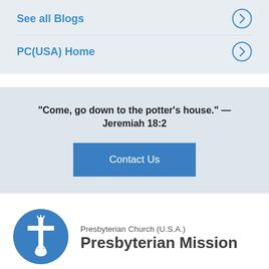See all Blogs
PC(USA) Home
“Come, go down to the potter’s house.” — Jeremiah 18:2
Contact Us
[Figure (logo): Presbyterian Church (U.S.A.) logo: blue circle with white cross and dove/flame symbol]
Presbyterian Church (U.S.A.) Presbyterian Mission
Connect With Us: